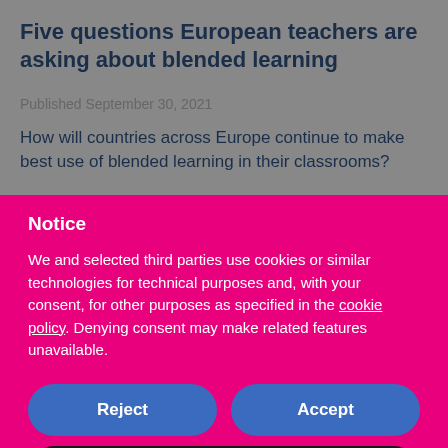Five questions European teachers are asking about blended learning
Published September 30, 2021
How will countries across Europe continue to make best use of blended learning in their classrooms?
Notice
We and selected third parties use cookies or similar technologies for technical purposes and, with your consent, for other purposes as specified in the cookie policy. Denying consent may make related features unavailable.
Reject
Accept
Learn more and customize